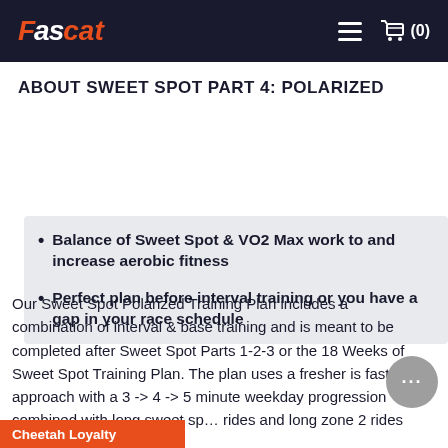FAScat (0)
ABOUT SWEET SPOT PART 4: POLARIZED
Balance of Sweet Spot & VO2 Max work to and increase aerobic fitness
Perfect plan before interval training or you have a gap in your race schedule
Our Sweet Spot Polarized Training Plan includes a combination of interval & base training and is meant to be completed after Sweet Spot Parts 1-2-3 or the 18 Weeks of Sweet Spot Training Plan. The plan uses a fresher is faster approach with a 3 -> 4 -> 5 minute weekday progression combined with long sweet spot rides and long zone 2 rides on Sundays.
Cheetah Loyalty